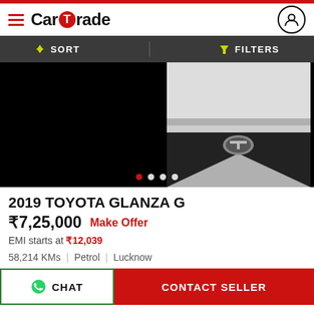CarTrade
SORT   FILTERS
[Figure (photo): Close-up front grille of a white Toyota Glanza, with navigation dots below showing multiple photos]
2019 TOYOTA GLANZA G
₹7,25,000   Make Offer
EMI starts at ₹12,039
58,214 KMs  |  Petrol  |  Lucknow
CHAT   CONTACT SELLER